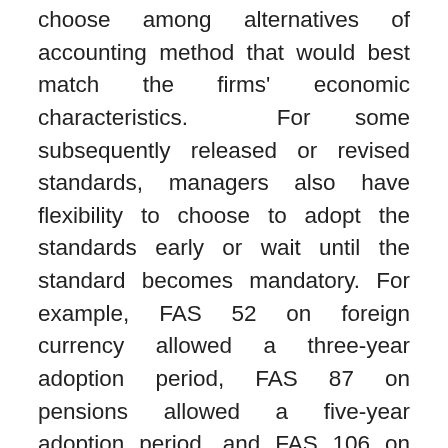choose among alternatives of accounting method that would best match the firms' economic characteristics. For some subsequently released or revised standards, managers also have flexibility to choose to adopt the standards early or wait until the standard becomes mandatory. For example, FAS 52 on foreign currency allowed a three-year adoption period, FAS 87 on pensions allowed a five-year adoption period, and FAS 106 on employee benefits allowed a three-year adoption period. FASB justification for this extended adoption period is mainly due to the firms' implementation cost (Langer & Lev, 1993). This extended adoption period gives